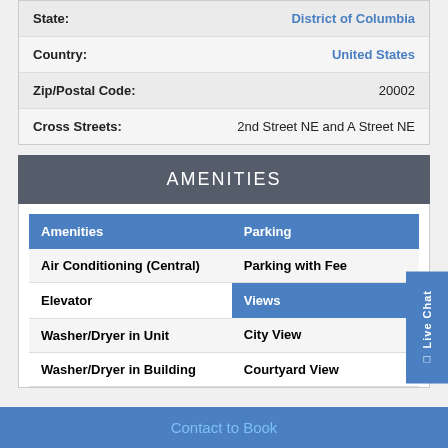| State: | District of Columbia |
| Country: | United States |
| Zip/Postal Code: | 20002 |
| Cross Streets: | 2nd Street NE and A Street NE |
AMENITIES
| Amenities | Parking |
| --- | --- |
| Air Conditioning (Central) | Parking with Fee |
| Elevator | Views |
| Washer/Dryer in Unit | City View |
| Washer/Dryer in Building | Courtyard View |
Contact to Book